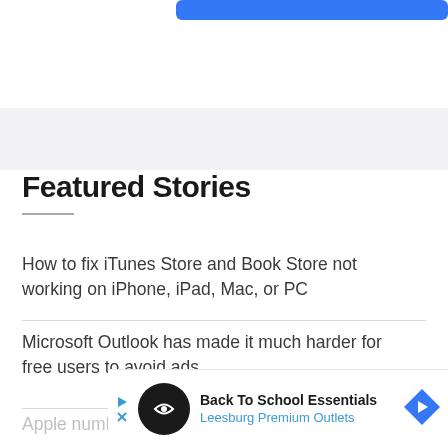[Figure (other): Blue rounded rectangle button at top of page]
Featured Stories
How to fix iTunes Store and Book Store not working on iPhone, iPad, Mac, or PC
Microsoft Outlook has made it much harder for free users to avoid ads
Apple numb
[Figure (other): Advertisement banner: Back To School Essentials, Leesburg Premium Outlets]